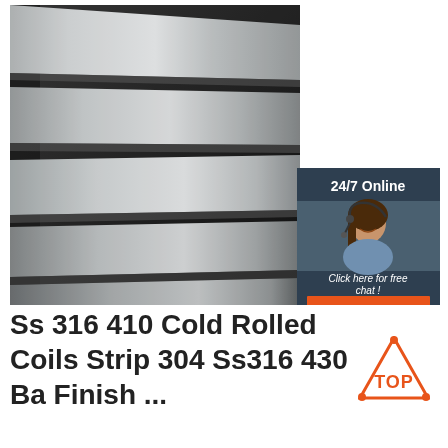[Figure (photo): Photo of stainless steel cold rolled coil strips arranged diagonally showing metallic silver surface with a dark background. In the bottom-right corner there is a customer service overlay with '24/7 Online' text, a woman wearing a headset, 'Click here for free chat!' text, and an orange 'QUOTATION' button.]
Ss 316 410 Cold Rolled Coils Strip 304 Ss316 430 Ba Finish ...